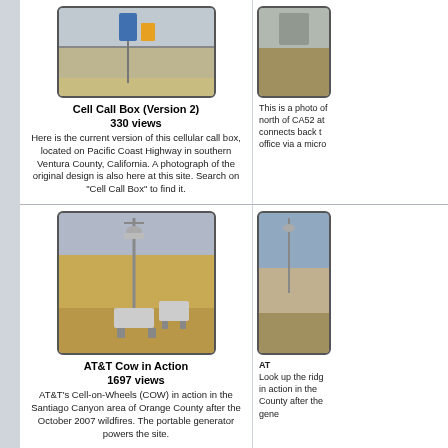[Figure (photo): Cell call box on Pacific Coast Highway - road scene with highway signs]
Cell Call Box (Version 2)
330 views
Here is the current version of this cellular call box, located on Pacific Coast Highway in southern Ventura County, California. A photograph of the original design is also here at this site. Search on "Cell Call Box" to find it.
[Figure (photo): Partially visible photo on right side - infrastructure north of CA52]
This is a photo of north of CA52 at connects back t office via a micro
[Figure (photo): AT&T Cell-on-Wheels (COW) mobile tower in Santiago Canyon area]
AT&T Cow in Action
1697 views
AT&T's Cell-on-Wheels (COW) in action in the Santiago Canyon area of Orange County after the October 2007 wildfires. The portable generator powers the site.
[Figure (photo): Partially visible AT&T COW photo on right side]
AT Look up the ridg in action in the County after the gene
[Figure (photo): Antenna equipment mounted on utility pole against blue sky]
[Figure (photo): Partially visible photo on right side showing palm trees]